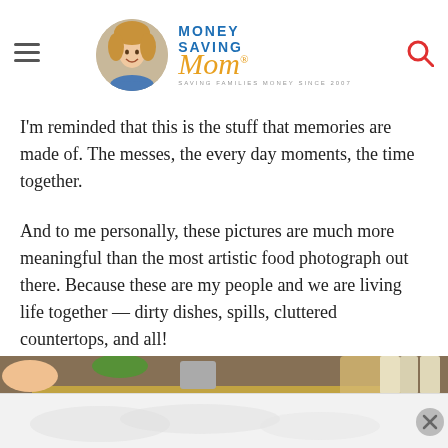Money Saving Mom® — Saving Families Money Since 2007
I'm reminded that this is the stuff that memories are made of. The messes, the every day moments, the time together.
And to me personally, these pictures are much more meaningful than the most artistic food photograph out there. Because these are my people and we are living life together — dirty dishes, spills, cluttered countertops, and all!
[Figure (photo): A child putting chocolate chips into a muffin tin on a kitchen counter, with various baking supplies visible in the background including a container of oats, measuring cups, and snack bags.]
[Figure (photo): Partial view of an advertisement at the bottom of the page with an X close button.]